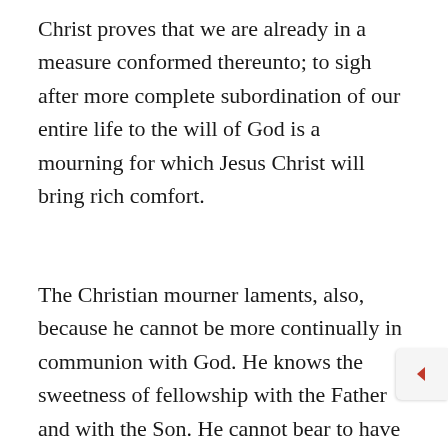Christ proves that we are already in a measure conformed thereunto; to sigh after more complete subordination of our entire life to the will of God is a mourning for which Jesus Christ will bring rich comfort.
The Christian mourner laments, also, because he cannot be more continually in communion with God. He knows the sweetness of fellowship with the Father and with the Son. He cannot bear to have it broken. If but the thinnest cloud pass between him and the sun of God's love, he